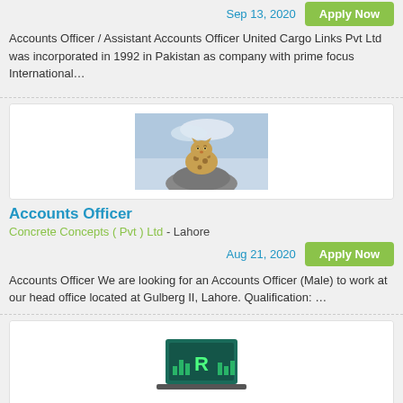Sep 13, 2020
Apply Now
Accounts Officer / Assistant Accounts Officer United Cargo Links Pvt Ltd was incorporated in 1992 in Pakistan as company with prime focus International…
[Figure (photo): Photo of a leopard sitting on a rock against a sky background]
Accounts Officer
Concrete Concepts ( Pvt ) Ltd  -  Lahore
Aug 21, 2020
Apply Now
Accounts Officer We are looking for an Accounts Officer (Male) to work at our head office located at Gulberg II, Lahore. Qualification: …
[Figure (logo): Rawaldigital logo — green letter R on dark teal background with laptop and wave bar graphics]
Medical Biller/accounts Executive Required
Rawaldigital  -  Rawalpindi
Aug 06, 2020
Apply Now